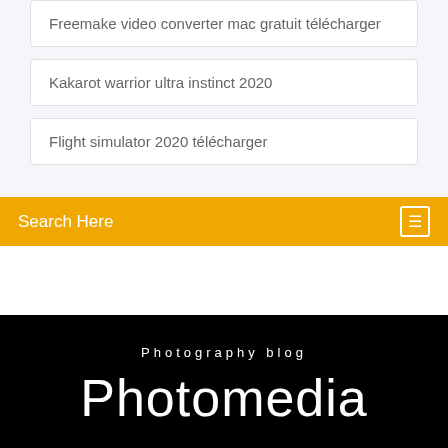Freemake video converter mac gratuit télécharger
Kakarot warrior ultra instinct 2020
Flight simulator 2020 télécharger
Search Here
Photography blog
Photomedia